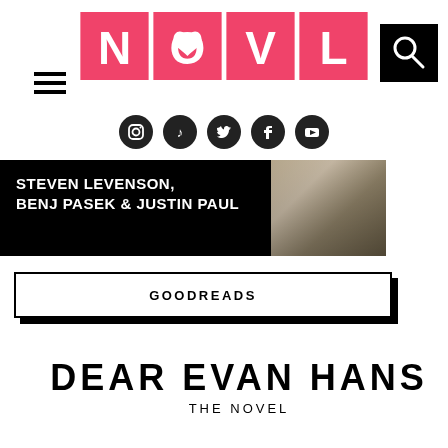[Figure (logo): NOVL logo with four pink square tiles containing letters N, O (with heart), V, L in white on hot pink background]
[Figure (infographic): Hamburger menu icon (three horizontal lines) on left side]
[Figure (infographic): Black search button with magnifying glass icon on right side]
[Figure (infographic): Social media icons row: Instagram, TikTok, Twitter, Facebook, YouTube — all in dark circular buttons]
[Figure (photo): Black banner with text STEVEN LEVENSON, BENJ PASEK & JUSTIN PAUL in white bold uppercase, with partial book cover photo on right]
[Figure (infographic): GOODREADS button with white foreground and black drop shadow]
DEAR EVAN HANSEN
THE NOVEL